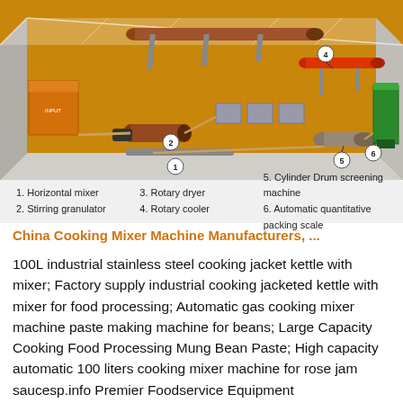[Figure (engineering-diagram): 3D isometric diagram of a fertilizer/granulation production line inside a factory building. Shows 6 numbered components: 1-Horizontal mixer (front), 2-Stirring granulator (middle-left), 3-Rotary dryer (long cylinder at top), 4-Rotary cooler (red cylinder upper right), 5-Cylinder Drum screening machine (right-center floor), 6-Automatic quantitative packing scale (far right green structure). Orange-colored factory floor with conveyor belts connecting equipment.]
1. Horizontal mixer   3. Rotary dryer   5. Cylinder Drum screening machine
2. Stirring granulator   4. Rotary cooler   6. Automatic quantitative packing scale
China Cooking Mixer Machine Manufacturers, ...
100L industrial stainless steel cooking jacket kettle with mixer; Factory supply industrial cooking jacketed kettle with mixer for food processing; Automatic gas cooking mixer machine paste making machine for beans; Large Capacity Cooking Food Processing Mung Bean Paste; High capacity automatic 100 liters cooking mixer machine for rose jam saucesp.info Premier Foodservice Equipment